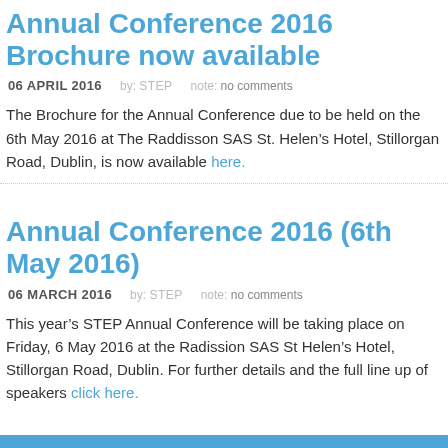Annual Conference 2016 Brochure now available
06 APRIL 2016   by: STEP   note: no comments
The Brochure for the Annual Conference due to be held on the 6th May 2016 at The Raddisson SAS St. Helen’s Hotel, Stillorgan Road, Dublin, is now available here.
Annual Conference 2016 (6th May 2016)
06 MARCH 2016   by: STEP   note: no comments
This year’s STEP Annual Conference will be taking place on Friday, 6 May 2016 at the Radission SAS St Helen’s Hotel, Stillorgan Road, Dublin. For further details and the full line up of speakers click here.